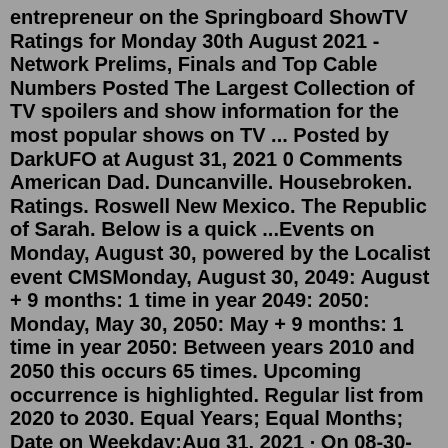entrepreneur on the Springboard ShowTV Ratings for Monday 30th August 2021 - Network Prelims, Finals and Top Cable Numbers Posted The Largest Collection of TV spoilers and show information for the most popular shows on TV ... Posted by DarkUFO at August 31, 2021 0 Comments American Dad. Duncanville. Housebroken. Ratings. Roswell New Mexico. The Republic of Sarah. Below is a quick ...Events on Monday, August 30, powered by the Localist event CMSMonday, August 30, 2049: August + 9 months: 1 time in year 2049: 2050: Monday, May 30, 2050: May + 9 months: 1 time in year 2050: Between years 2010 and 2050 this occurs 65 times. Upcoming occurrence is highlighted. Regular list from 2020 to 2030. Equal Years; Equal Months; Date on Weekday;Aug 31, 2021 · On 08-30-2021 at 1930 hours, officers responded to the vicinity of the 3900 BLK of S Kenyon St in response to a shots call. Upon arrival, officers located evidence of a shooting in the street, and later, after another 911 call, eventually located a victim that had returned to his residence.